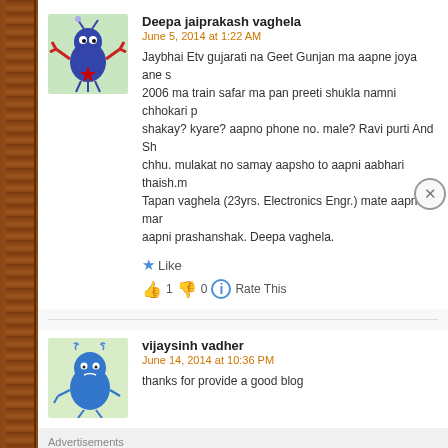Deepa jaiprakash vaghela
June 5, 2014 at 1:22 AM
Jaybhai Etv gujarati na Geet Gunjan ma aapne joya ane s... 2006 ma train safar ma pan preeti shukla namni chhokari p... shakay? kyare? aapno phone no. male? Ravi purti And Sh... chhu. mulakat no samay aapsho to aapni aabhari thaish.m... Tapan vaghela (23yrs. Electronics Engr.) mate aapna mar... aapni prashanshak. Deepa vaghela.
Like
1  0  Rate This
vijaysinh vadher
June 14, 2014 at 10:36 PM
thanks for provide a good blog
Advertisements
[Figure (screenshot): DuckDuckGo advertisement banner: orange background with text 'Search, browse, and email with more privacy. All in One Free App' and a phone image showing DuckDuckGo logo]